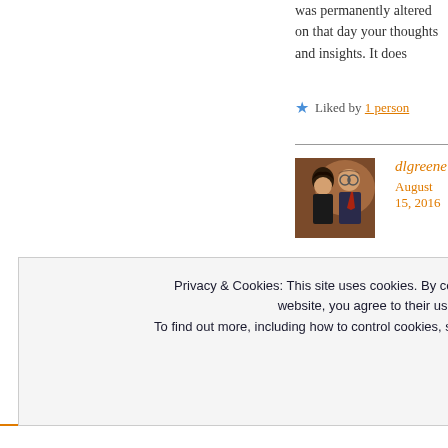was permanently altered on that day your thoughts and insights. It does
★ Liked by 1 person
dlgreene
August 15, 2016
[Figure (photo): Profile photo of two people embracing at an event]
Oh Deborah, I am so sorry for the violent ending grateful always and touch others who reach out alone in my pa be 16 months gro
Privacy & Cookies: This site uses cookies. By continuing to use this website, you agree to their use.
To find out more, including how to control cookies, see here: Cookie Policy
Close and accept